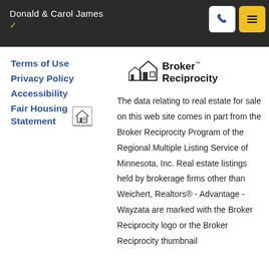Donald & Carol James
Terms of Use
Privacy Policy
Accessibility
Fair Housing Statement
[Figure (logo): Broker Reciprocity logo with house icon and text 'Broker Reciprocity']
The data relating to real estate for sale on this web site comes in part from the Broker Reciprocity Program of the Regional Multiple Listing Service of Minnesota, Inc. Real estate listings held by brokerage firms other than Weichert, Realtors® - Advantage - Wayzata are marked with the Broker Reciprocity logo or the Broker Reciprocity thumbnail...